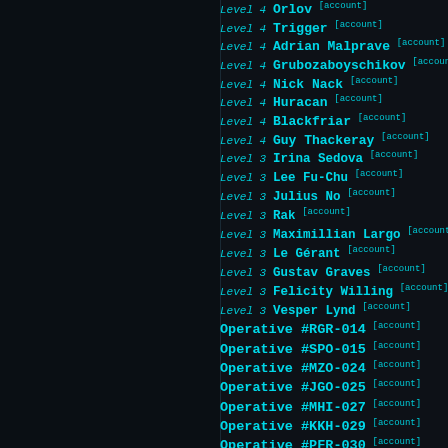Level 4 Orlov [account]
Level 4 Trigger [account]
Level 4 Adrian Malprave [account]
Level 4 Grubozaboyschikov [account]
Level 4 Nick Nack [account]
Level 4 Huracan [account]
Level 4 Blackfriar [account]
Level 4 Guy Thackeray [account]
Level 3 Irina Sedova [account]
Level 3 Lee Fu-Chu [account]
Level 3 Julius No [account]
Level 3 Rak [account]
Level 3 Maximillian Largo [account]
Level 3 Le Gérant [account]
Level 3 Gustav Graves [account]
Level 3 Felicity Willing [account]
Level 3 Vesper Lynd [account]
Operative #RGR-014 [account]
Operative #SPO-015 [account]
Operative #MZO-024 [account]
Operative #JGO-025 [account]
Operative #MHI-027 [account]
Operative #KKH-029 [account]
Operative #PFR-030 [account]
Operative #MTA-058 [account]
Operative #BRO-062 [account]
Operative #GOL-071 [account]